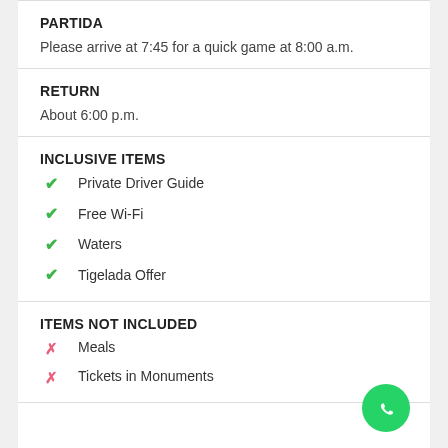PARTIDA
Please arrive at 7:45 for a quick game at 8:00 a.m.
RETURN
About 6:00 p.m.
INCLUSIVE ITEMS
Private Driver Guide
Free Wi-Fi
Waters
Tigelada Offer
ITEMS NOT INCLUDED
Meals
Tickets in Monuments